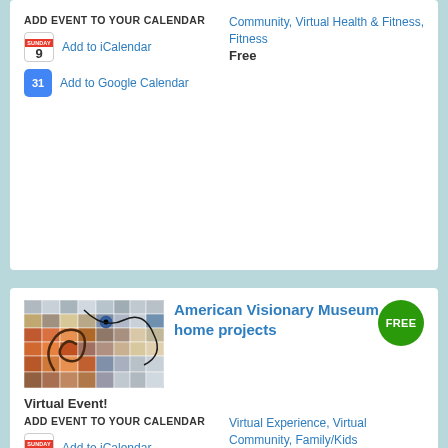ADD EVENT TO YOUR CALENDAR
Add to iCalendar
Add to Google Calendar
Community, Virtual Health & Fitness, Fitness
Free
[Figure (photo): Mosaic artwork with swirling colorful patterns]
American Visionary Museum - at home projects
FREE
Virtual Event!
ADD EVENT TO YOUR CALENDAR
Add to iCalendar
Add to Google Calendar
Virtual Experience, Virtual Community, Family/Kids
Free